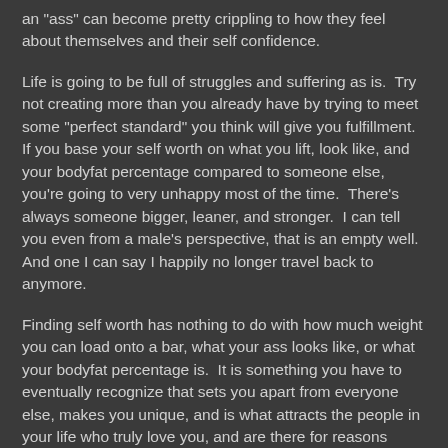an "ass" can become pretty crippling to how they feel about themselves and their self confidence.
Life is going to be full of struggles and suffering as is.  Try not creating more than you already have by trying to meet some "perfect standard" you think will give you fulfillment.  If you base your self worth on what you lift, look like, and your bodyfat percentage compared to someone else, you're going to very unhappy most of the time.  There's always someone bigger, leaner, and stronger.  I can tell you even from a male's perspective, that is an empty well.  And one I can say I happily no longer travel back to anymore.
Finding self worth has nothing to do with how much weight you can load onto a bar, what your ass looks like, or what your bodyfat percentage is.  It is something you have to eventually recognize that sets you apart from everyone else, makes you unique, and is what attracts the people in your life who truly love you, and are there for reasons beyond your physical appearance.